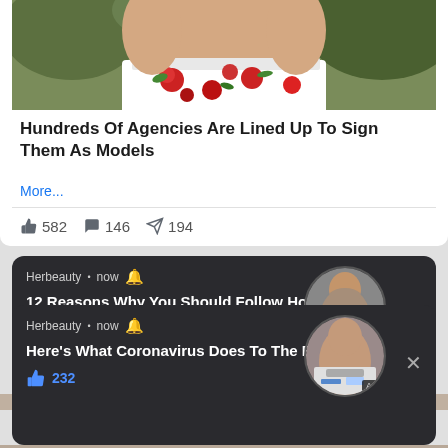[Figure (photo): Top portion of a woman in a white floral off-shoulder top with red roses, cropped at shoulders]
Hundreds Of Agencies Are Lined Up To Sign Them As Models
More...
👍 582   💬 146   ➤ 194
[Figure (screenshot): Herbeauty ad card (dark background): 12 Reasons Why You Should Follow Holly Luya & Her Fashion Antics, 👍 225, circular photo of woman in bikini in hammock, Ad badge]
[Figure (screenshot): Herbeauty ad card (dark background): Here's What Coronavirus Does To The Body, 👍 232, circular photo of woman in hospital bed with oxygen mask, Ad badge]